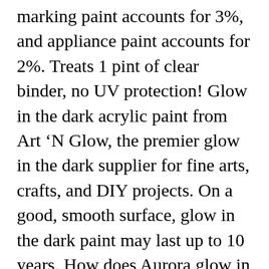marking paint accounts for 3%, and appliance paint accounts for 2%. Treats 1 pint of clear binder, no UV protection! Glow in the dark acrylic paint from Art 'N Glow, the premier glow in the dark supplier for fine arts, crafts, and DIY projects. On a good, smooth surface, glow in the dark paint may last up to 10 years. How does Aurora glow in the dark paint stack up against the competition? Applying the best glow in the dark paint is easy and can be done by almost everyone. ... Glow in the dark paint is a special kind of paint that, you guessed it, glows in the dark. Premium Glow in the Dark Acrylic Paint Set by neon nights Set of 8 Professional Grade Neon Craft Paints Long-